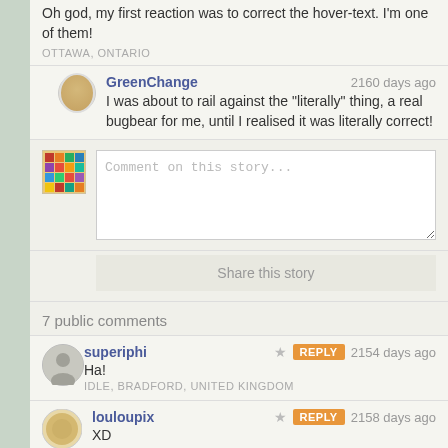Oh god, my first reaction was to correct the hover-text. I'm one of them!
OTTAWA, ONTARIO
GreenChange
2160 days ago
I was about to rail against the "literally" thing, a real bugbear for me, until I realised it was literally correct!
Comment on this story...
Share this story
7 public comments
superiphi
REPLY
2154 days ago
Ha!
IDLE, BRADFORD, UNITED KINGDOM
louloupix
REPLY
2158 days ago
XD
[deleted]
2155 days ago
XD